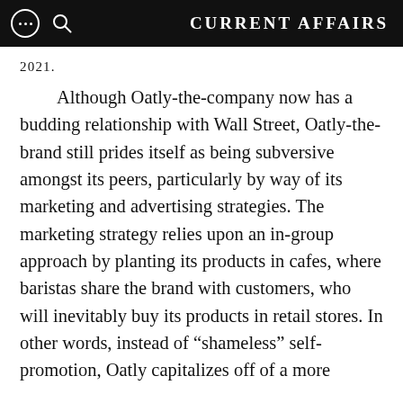CURRENT AFFAIRS
2021.
Although Oatly-the-company now has a budding relationship with Wall Street, Oatly-the-brand still prides itself as being subversive amongst its peers, particularly by way of its marketing and advertising strategies. The marketing strategy relies upon an in-group approach by planting its products in cafes, where baristas share the brand with customers, who will inevitably buy its products in retail stores. In other words, instead of “shameless” self-promotion, Oatly capitalizes off of a more